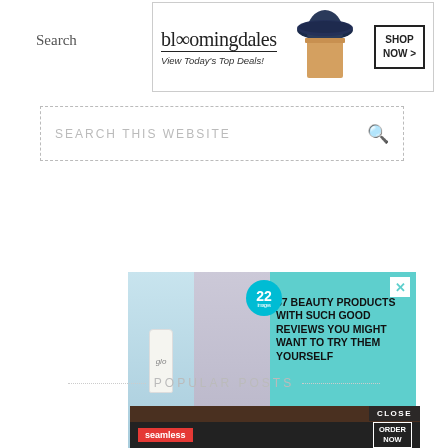Search
[Figure (illustration): Bloomingdale's banner ad with logo, 'View Today's Top Deals!' text, woman in wide-brim hat, and 'SHOP NOW >' button]
[Figure (screenshot): Search website input box with placeholder text 'SEARCH THIS WEBSITE' and a magnifying glass icon]
[Figure (illustration): Beauty ad on teal background with glo bottle, woman profile, badge showing '22', and text '37 BEAUTY PRODUCTS WITH SUCH GOOD REVIEWS YOU MIGHT WANT TO TRY THEM YOURSELF' with X close button]
POPULAR POSTS
[Figure (photo): Partial view of food/pizza image and Seamless ad with red logo and 'ORDER NOW' button on dark background, with 'CLOSE' button]